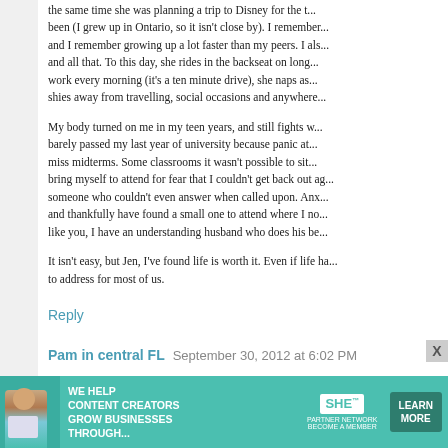the same time she was planning a trip to Disney for the t... been (I grew up in Ontario, so it isn't close by). I remember... and I remember growing up a lot faster than my peers. I als... and all that. To this day, she rides in the backseat on long... work every morning (it's a ten minute drive), she naps as... shies away from travelling, social occasions and anywhere...
My body turned on me in my teen years, and still fights w... barely passed my last year of university because panic at... miss midterms. Some classrooms it wasn't possible to sit... bring myself to attend for fear that I couldn't get back out ag... someone who couldn't even answer when called upon. Anx... and thankfully have found a small one to attend where I no... like you, I have an understanding husband who does his be...
It isn't easy, but Jen, I've found life is worth it. Even if life ha... to address for most of us.
Reply
Pam in central FL   September 30, 2012 at 6:02 PM
Thank you soooooo much for sharing this post. I'd love to... one: {{Jen}}. (Is that the emoticon for hugging? It's bee...
[Figure (infographic): Advertisement banner for SHE Partner Network: 'We help content creators grow businesses through...' with woman photo, SHE logo, and Learn More button]